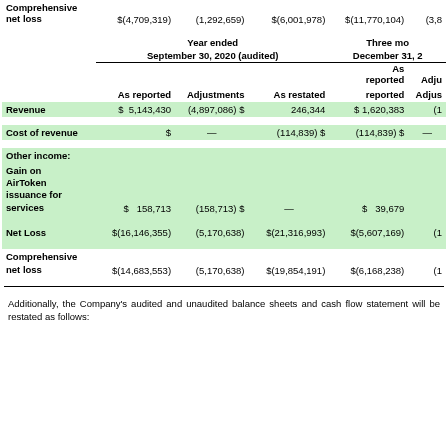|  | As reported | Adjustments | As restated | As reported | Adju |
| --- | --- | --- | --- | --- | --- |
| Comprehensive net loss | $(4,709,319) | (1,292,659) | $(6,001,978) | $(11,770,104) | (3,8 |
| Year ended September 30, 2020 (audited) |  |  |  | Three months ended December 31, 2 |  |
|  | As reported | Adjustments | As restated | As reported | Adjus |
| Revenue | $ 5,143,430 | (4,897,086) | $ 246,344 | $ 1,620,383 | (1 |
| Cost of revenue | $ | — | (114,839) $ | (114,839) $ | — |
| Other income: |  |  |  |  |  |
| Gain on AirToken issuance for services | $ 158,713 | (158,713) $ | — | $ 39,679 |  |
| Net Loss | $(16,146,355) | (5,170,638) | $(21,316,993) | $(5,607,169) | (1 |
| Comprehensive net loss | $(14,683,553) | (5,170,638) | $(19,854,191) | $(6,168,238) | (1 |
Additionally, the Company's audited and unaudited balance sheets and cash flow statement will be restated as follows: